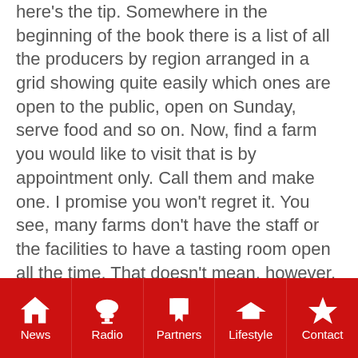here's the tip. Somewhere in the beginning of the book there is a list of all the producers by region arranged in a grid showing quite easily which ones are open to the public, open on Sunday, serve food and so on. Now, find a farm you would like to visit that is by appointment only. Call them and make one. I promise you won't regret it. You see, many farms don't have the staff or the facilities to have a tasting room open all the time. That doesn't mean, however, that they don't want you to come and taste their wines, it's just they need to know when you will be arriving. The bonus for you is that you receive far more attention than you do at some of the bigger more commercial tasting rooms. Some of my favourite days tasting at wine farms have come from making appointments.
News | Radio | Partners | Lifestyle | Contact